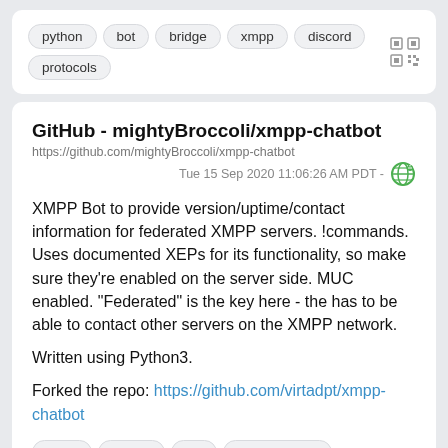python  bot  bridge  xmpp  discord  protocols
GitHub - mightyBroccoli/xmpp-chatbot
https://github.com/mightyBroccoli/xmpp-chatbot
Tue 15 Sep 2020 11:06:26 AM PDT  -
XMPP Bot to provide version/uptime/contact information for federated XMPP servers. !commands. Uses documented XEPs for its functionality, so make sure they're enabled on the server side. MUC enabled. "Federated" is the key here - the has to be able to contact other servers on the XMPP network.
Written using Python3.
Forked the repo: https://github.com/virtadpt/xmpp-chatbot
xmpp  python  bot  administration  query  exocortex